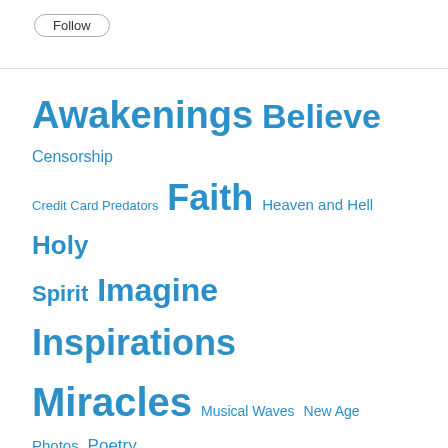[Figure (other): Follow button - rounded pill-shaped button with text 'Follow']
Awakenings Believe Censorship Credit Card Predators Faith Heaven and Hell Holy Spirit Imagine Inspirations Miracles Musical Waves New Age Photos Poetry Poverty Reflections Remember Seek Spiritual Truth Uncategorized